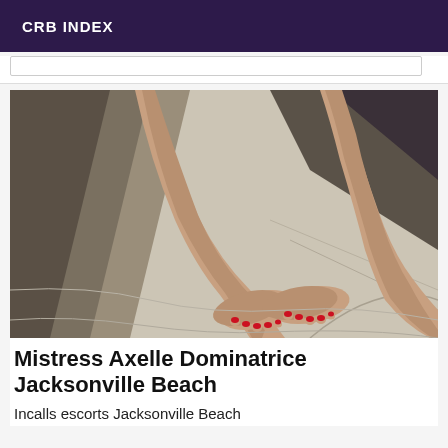CRB INDEX
[Figure (photo): Photo of a person's bare legs and feet with red nail polish, resting on white bedsheets.]
Mistress Axelle Dominatrice Jacksonville Beach
Incalls escorts Jacksonville Beach